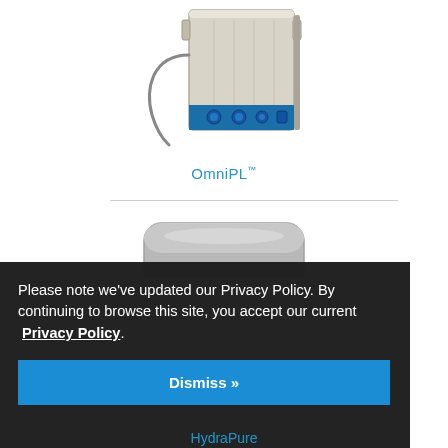[Figure (photo): OmniPL product device — a rectangular wall-mount enclosure in light gray/beige with blue accent panel at the bottom and a cable/wire coming out from the side]
OmniPL™
[Figure (photo): HydraPure product device — a compact flat gray unit, partially visible at the bottom of the page]
Please note we've updated our Privacy Policy. By continuing to browse this site, you accept our current Privacy Policy.
Dismiss »
HydraPure